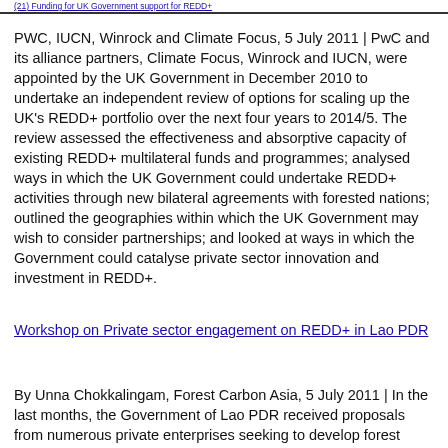(21) Funding for UK Government support for REDD+
PWC, IUCN, Winrock and Climate Focus, 5 July 2011 | PwC and its alliance partners, Climate Focus, Winrock and IUCN, were appointed by the UK Government in December 2010 to undertake an independent review of options for scaling up the UK's REDD+ portfolio over the next four years to 2014/5. The review assessed the effectiveness and absorptive capacity of existing REDD+ multilateral funds and programmes; analysed ways in which the UK Government could undertake REDD+ activities through new bilateral agreements with forested nations; outlined the geographies within which the UK Government may wish to consider partnerships; and looked at ways in which the Government could catalyse private sector innovation and investment in REDD+.
Workshop on Private sector engagement on REDD+ in Lao PDR
By Unna Chokkalingam, Forest Carbon Asia, 5 July 2011 | In the last months, the Government of Lao PDR received proposals from numerous private enterprises seeking to develop forest carbon projects in Laos. To facilitate...